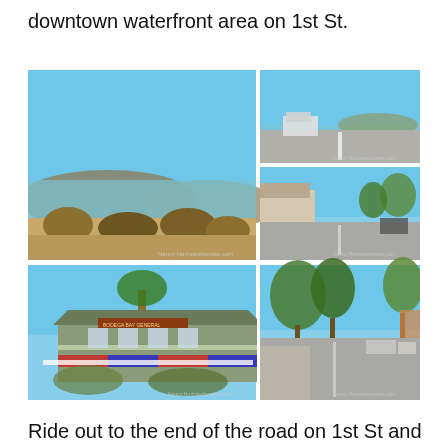downtown waterfront area on 1st St.
[Figure (photo): Collage of five photos showing Bodega Bay area: large panoramic photo of bay with dry grasses and hills in background, two smaller photos on right showing road near waterfront and a town street, and two bottom photos showing a historical building with patriotic bunting and a tree-lined street.]
Ride out to the end of the road on 1st St and